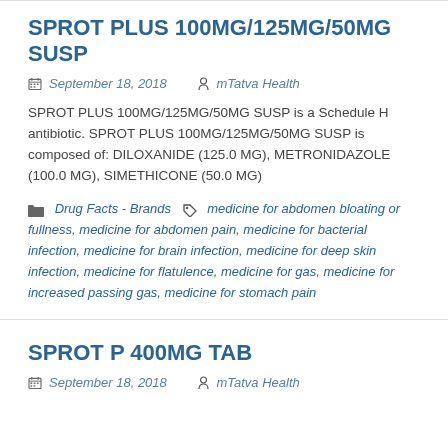SPROT PLUS 100MG/125MG/50MG SUSP
September 18, 2018   mTatva Health
SPROT PLUS 100MG/125MG/50MG SUSP is a Schedule H antibiotic. SPROT PLUS 100MG/125MG/50MG SUSP is composed of: DILOXANIDE (125.0 MG), METRONIDAZOLE (100.0 MG), SIMETHICONE (50.0 MG)
Drug Facts - Brands   medicine for abdomen bloating or fullness, medicine for abdomen pain, medicine for bacterial infection, medicine for brain infection, medicine for deep skin infection, medicine for flatulence, medicine for gas, medicine for increased passing gas, medicine for stomach pain
SPROT P 400MG TAB
September 18, 2018   mTatva Health